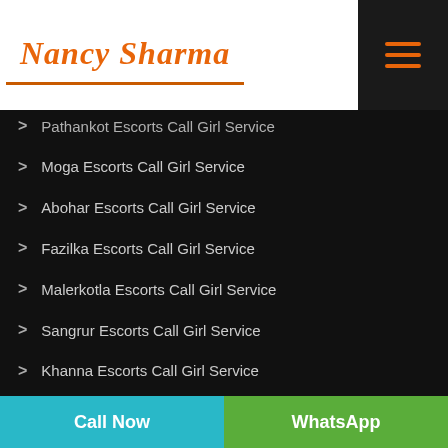Nancy Sharma
Pathankot Escorts Call Girl Service
Moga Escorts Call Girl Service
Abohar Escorts Call Girl Service
Fazilka Escorts Call Girl Service
Malerkotla Escorts Call Girl Service
Sangrur Escorts Call Girl Service
Khanna Escorts Call Girl Service
Phagwara Escorts Call Girl Service
Kapurthala Escorts Call Girl Service
Call Now | WhatsApp